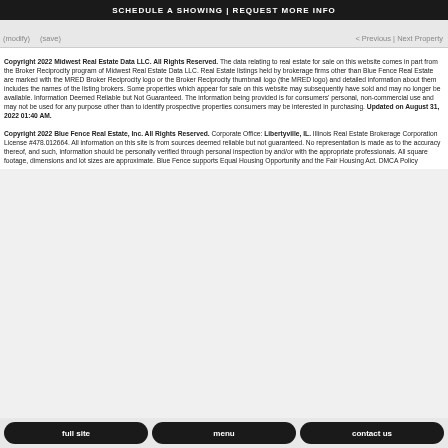SCHEDULE A SHOWING | REQUEST MORE INFO
(modify)   (save)   < Previous | Next Property
Copyright 2022 Midwest Real Estate Data LLC. All Rights Reserved. The data relating to real estate for sale on this website comes in part from the Broker Reciprocity program of Midwest Real Estate Data LLC. Real Estate listings held by brokerage firms other than Blue Fence Real Estate are marked with the MRED Broker Reciprocity logo or the Broker Reciprocity thumbnail logo (the MRED logo) and detailed information about them includes the names of the listing brokers. Some properties which appear for sale on this website may subsequently have sold and may no longer be available. Information Deemed Reliable but Not Guaranteed. The information being provided is for consumers' personal, non-commercial use and may not be used for any purpose other than to identify prospective properties consumers may be interested in purchasing. Updated on August 31, 2022 01:40 AM.
Copyright 2022 Blue Fence Real Estate, Inc. All Rights Reserved. Corporate Office: Libertyville, IL. Illinois Real Estate Brokerage Corporation License #478.012664. All information on this site is from sources deemed reliable but not guaranteed. No representation is made as to the accuracy thereof, and such, information should be personally verified through personal inspection by and/or with the appropriate professionals. All square footage, dimensions and lot sizes are approximate. Blue Fence supports Equal Housing Opportunity and the Fair Housing Act. DMCA Policy
full site | menu | contact us